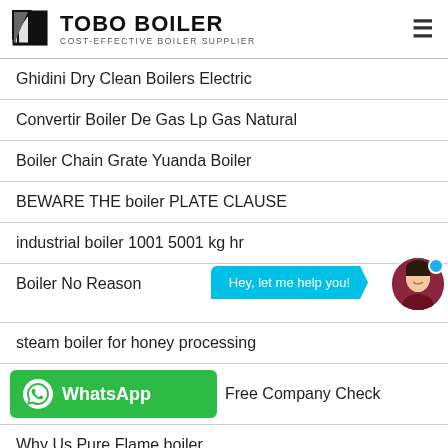TOBO BOILER — COST-EFFECTIVE BOILER SUPPLIER
Ghidini Dry Clean Boilers Electric
Convertir Boiler De Gas Lp Gas Natural
Boiler Chain Grate Yuanda Boiler
BEWARE THE boiler PLATE CLAUSE
industrial boiler 1001 5001 kg hr
Boiler No Reason
steam boiler for honey processing
Free Company Check
Why Us Pure Flame boiler